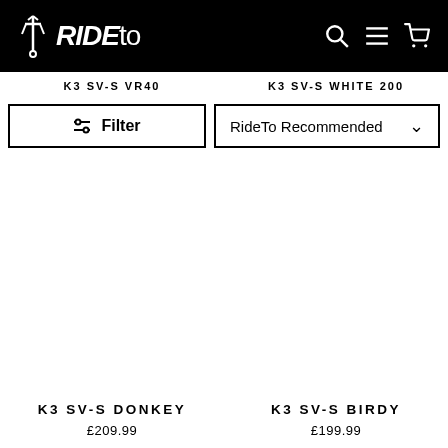RIDEto
K3 SV-S VR40
K3 SV-S WHITE 200
Filter
RideTo Recommended
K3 SV-S DONKEY
£209.99
K3 SV-S BIRDY
£199.99